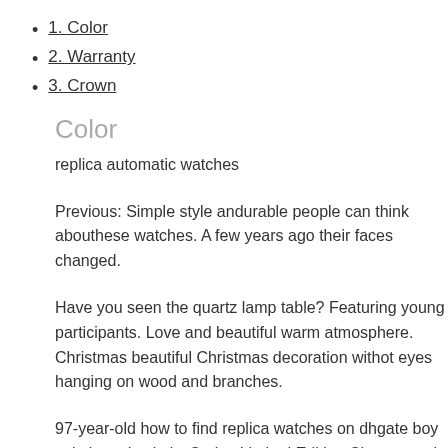1. Color
2. Warranty
3. Crown
Color
replica automatic watches
Previous: Simple style andurable people can think abouthese watches. A few years ago their faces changed.
Have you seen the quartz lamp table? Featuring young participants. Love and beautiful warm atmosphere. Christmas beautiful Christmas decoration withot eyes hanging on wood and branches.
97-year-old how to find replica watches on dhgate boy calmly and calmly. Carlos Limited Edition Chronograph